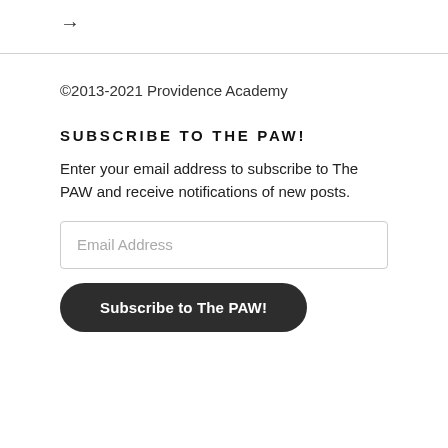→
©2013-2021 Providence Academy
SUBSCRIBE TO THE PAW!
Enter your email address to subscribe to The PAW and receive notifications of new posts.
Email Address
Subscribe to The PAW!